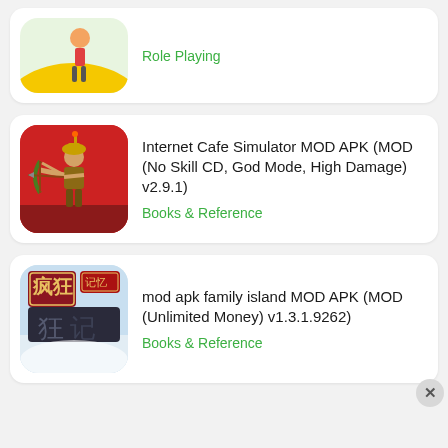[Figure (screenshot): Partial card at top showing a game character on a yellow curved surface, cropped at top]
Role Playing
[Figure (screenshot): App icon showing an archer warrior character in ancient Chinese armor with bow and arrow on red background]
Internet Cafe Simulator MOD APK (MOD (No Skill CD, God Mode, High Damage) v2.9.1)
Books & Reference
[Figure (screenshot): App icon with Chinese characters showing a stylized calligraphy design with dark text on light background]
mod apk family island MOD APK (MOD (Unlimited Money) v1.3.1.9262)
Books & Reference